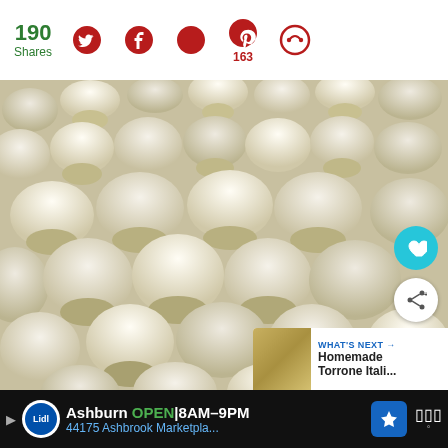190 Shares | Twitter | Facebook | Flipboard | Pinterest 163 | Other
[Figure (photo): Close-up photograph of many white/cream mini marshmallows piled together, filling the entire frame]
WHAT'S NEXT → Homemade Torrone Itali...
Ashburn OPEN 8AM–9PM 44175 Ashbrook Marketpla...